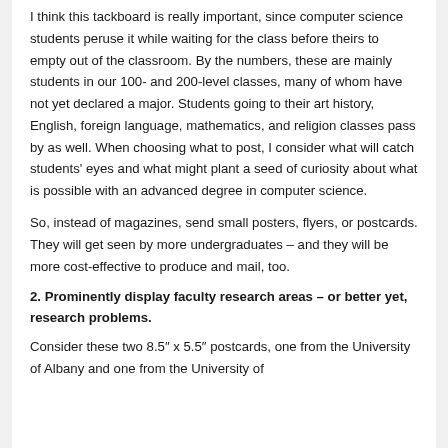I think this tackboard is really important, since computer science students peruse it while waiting for the class before theirs to empty out of the classroom. By the numbers, these are mainly students in our 100- and 200-level classes, many of whom have not yet declared a major. Students going to their art history, English, foreign language, mathematics, and religion classes pass by as well. When choosing what to post, I consider what will catch students' eyes and what might plant a seed of curiosity about what is possible with an advanced degree in computer science.
So, instead of magazines, send small posters, flyers, or postcards. They will get seen by more undergraduates – and they will be more cost-effective to produce and mail, too.
2. Prominently display faculty research areas – or better yet, research problems.
Consider these two 8.5″ x 5.5″ postcards, one from the University of Albany and one from the University of